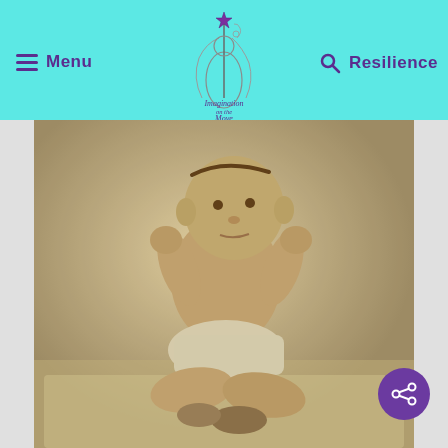Menu  [Imagination on the Move logo]  Resilience
[Figure (photo): Vintage sepia-toned photograph of a baby wearing a diaper, sitting cross-legged on a fluffy white rug, looking upward with both fists raised. Baby is wearing shoes on feet.]
[Figure (logo): Share button icon — purple circle with white share/network icon]